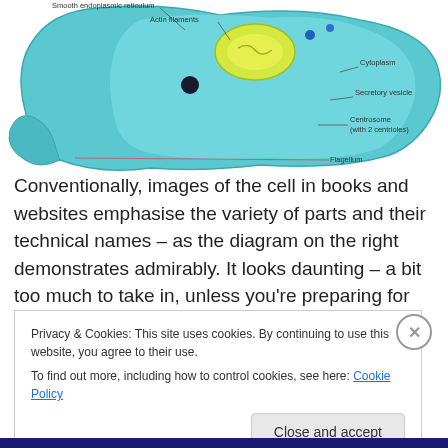[Figure (illustration): Labeled cell biology diagram showing a cell with flagellum, nucleus, cytoplasm, secretory vesicle, centrosome (with 2 centrioles), smooth endoplasmic reticulum, and actin filaments. The cell body is teal/cyan colored with labeled parts connected by lines.]
Conventionally, images of the cell in books and websites emphasise the variety of parts and their technical names – as the diagram on the right demonstrates admirably. It looks daunting – a bit too much to take in, unless you're preparing for an exam.
Privacy & Cookies: This site uses cookies. By continuing to use this website, you agree to their use.
To find out more, including how to control cookies, see here: Cookie Policy